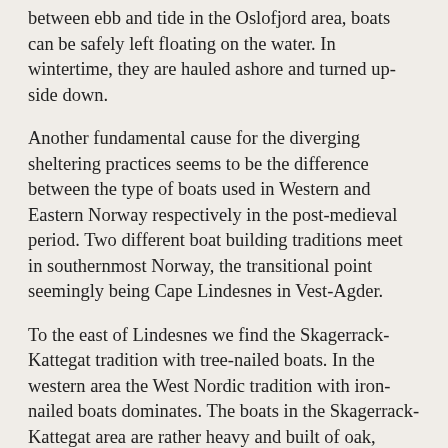between ebb and tide in the Oslofjord area, boats can be safely left floating on the water. In wintertime, they are hauled ashore and turned up-side down.
Another fundamental cause for the diverging sheltering practices seems to be the difference between the type of boats used in Western and Eastern Norway respectively in the post-medieval period. Two different boat building traditions meet in southernmost Norway, the transitional point seemingly being Cape Lindesnes in Vest-Agder.
To the east of Lindesnes we find the Skagerrack-Kattegat tradition with tree-nailed boats. In the western area the West Nordic tradition with iron-nailed boats dominates. The boats in the Skagerrack-Kattegat area are rather heavy and built of oak, while the boats in Western Norway are lighter, narrower and built of pine or spruce.
The eastern, oak-built boats are somewhat more robust than their western conifer counterparts, and this fact may be of some significance for the unequal distribution ofbuildings used for the protection of boats. Also, the greater weight also might be a clue, with a corresponding health the...